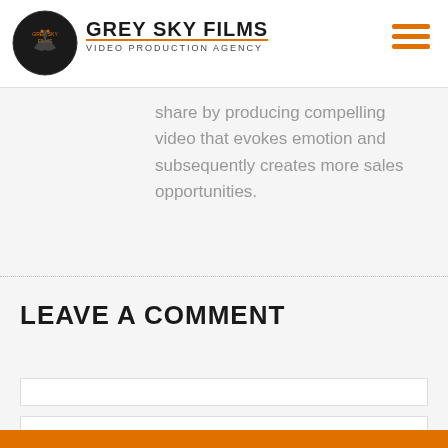[Figure (logo): Grey Sky Films circular logo with lizard illustration and company name 'GREY SKY FILMS VIDEO PRODUCTION AGENCY']
share by producing compelling video that evokes emotion and subsequently creates more sales opportunities.
LEAVE A COMMENT